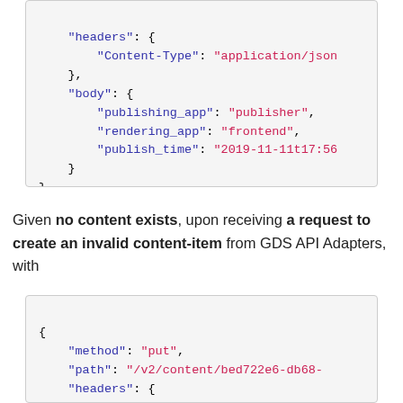"headers": {
    "Content-Type": "application/json"
},
"body": {
    "publishing_app": "publisher",
    "rendering_app": "frontend",
    "publish_time": "2019-11-11t17:56"
}
}
Given no content exists, upon receiving a request to create an invalid content-item from GDS API Adapters, with
{
    "method": "put",
    "path": "/v2/content/bed722e6-db68-...",
    "headers": {
        "Accept": "application/json",
        "User-Agent": "gds-api-adapters/8...",
        "Content-Type": "application/json",
        "Authorization": "Bearer example-...